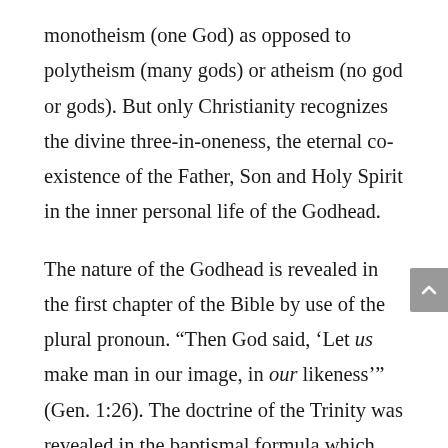monotheism (one God) as opposed to polytheism (many gods) or atheism (no god or gods). But only Christianity recognizes the divine three-in-oneness, the eternal co-existence of the Father, Son and Holy Spirit in the inner personal life of the Godhead.
The nature of the Godhead is revealed in the first chapter of the Bible by use of the plural pronoun. “Then God said, ‘Let us make man in our image, in our likeness’” (Gen. 1:26). The doctrine of the Trinity was revealed in the baptismal formula which was stated by Christ Himself. “Therefore go and make disciples of all nations, baptizing them in the name of the...